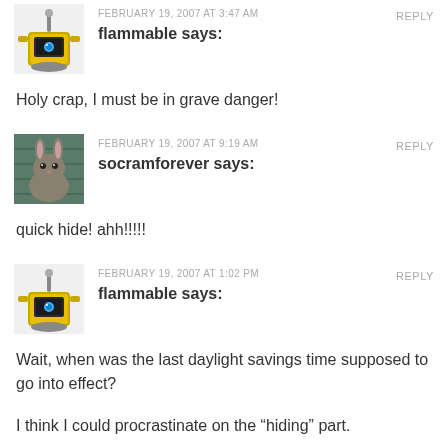FEBRUARY 19, 2007 AT 3:47 AM
flammable says:
Holy crap, I must be in grave danger!
FEBRUARY 19, 2007 AT 9:19 AM
socramforever says:
quick hide! ahh!!!!!
FEBRUARY 19, 2007 AT 1:02 PM
flammable says:
Wait, when was the last daylight savings time supposed to go into effect?
I think I could procrastinate on the “hiding” part.